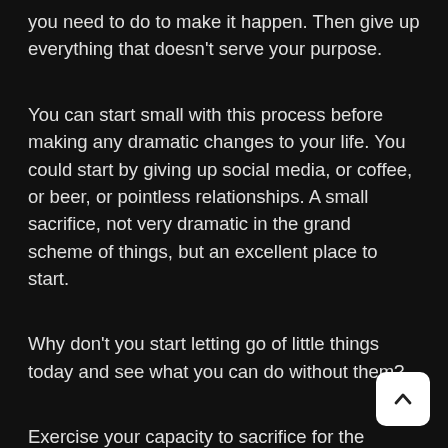you need to do to make it happen. Then give up everything that doesn't serve your purpose.
You can start small with this process before making any dramatic changes to your life. You could start by giving up social media, or coffee, or beer, or pointless relationships. A small sacrifice, not very dramatic in the grand scheme of things, but an excellent place to start.
Why don't you start letting go of little things today and see what you can do without them?
Exercise your capacity to sacrifice for the greater g… so that you can make those grand selfless offering… the future when you get the call…